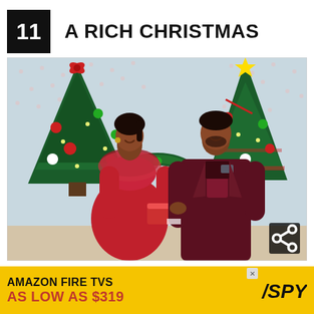11  A RICH CHRISTMAS
[Figure (photo): Two people in festive red and maroon outfits exchanging a gift box in front of decorated Christmas trees with ornaments and lights. A share icon button appears in the bottom-right corner of the image.]
Photo : Courtesy of BET+
AMAZON FIRE TVS AS LOW AS $319